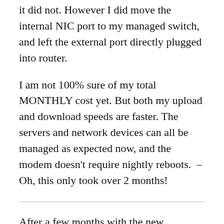it did not. However I did move the internal NIC port to my managed switch, and left the external port directly plugged into router.
I am not 100% sure of my total MONTHLY cost yet. But both my upload and download speeds are faster. The servers and network devices can all be managed as expected now, and the modem doesn't require nightly reboots.  – Oh, this only took over 2 months!
After a few months with the new Business Class account we are happy with results overall. When we do have issues we call, we get service the next day. For almost two weeks we had